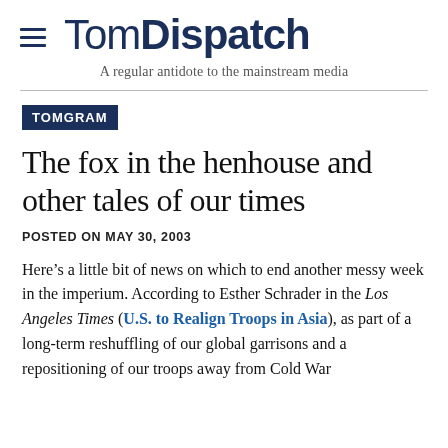TomDispatch — A regular antidote to the mainstream media
TOMGRAM
The fox in the henhouse and other tales of our times
POSTED ON MAY 30, 2003
Here’s a little bit of news on which to end another messy week in the imperium. According to Esther Schrader in the Los Angeles Times (U.S. to Realign Troops in Asia), as part of a long-term reshuffling of our global garrisons and a repositioning of our troops away from Cold War bases in Germany and toward South Korea and...